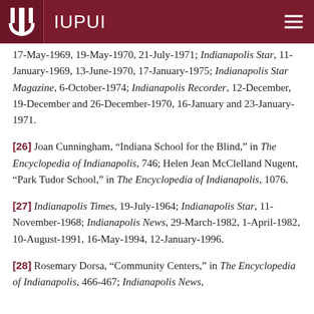IUPUI
17-May-1969, 19-May-1970, 21-July-1971; Indianapolis Star, 11-January-1969, 13-June-1970, 17-January-1975; Indianapolis Star Magazine, 6-October-1974; Indianapolis Recorder, 12-December, 19-December and 26-December-1970, 16-January and 23-January-1971.
[26] Joan Cunningham, "Indiana School for the Blind," in The Encyclopedia of Indianapolis, 746; Helen Jean McClelland Nugent, "Park Tudor School," in The Encyclopedia of Indianapolis, 1076.
[27] Indianapolis Times, 19-July-1964; Indianapolis Star, 11-November-1968; Indianapolis News, 29-March-1982, 1-April-1982, 10-August-1991, 16-May-1994, 12-January-1996.
[28] Rosemary Dorsa, "Community Centers," in The Encyclopedia of Indianapolis, 466-467; Indianapolis News,